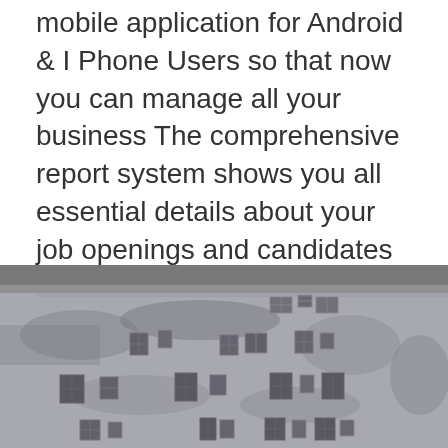mobile application for Android & I Phone Users so that now you can manage all your business The comprehensive report system shows you all essential details about your job openings and candidates at a glance. Get a bird's-eye view of everything you need of your in-progress and completed job posts. Choose to view individually and download as CSV. ERP Jobs, Alexandria, Egypt.
[Figure (photo): Black and white photograph of a weathered concrete building facade with multiple windows of varying sizes arranged across several floors]